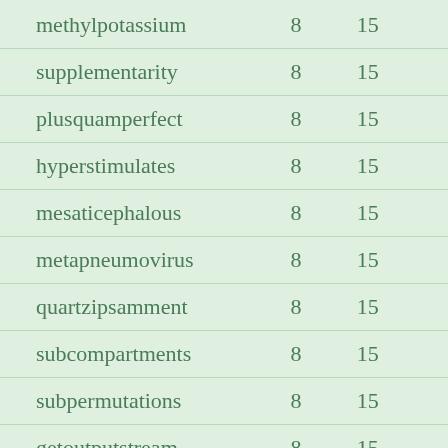| methylpotassium | 8 | 15 |
| supplementarity | 8 | 15 |
| plusquamperfect | 8 | 15 |
| hyperstimulates | 8 | 15 |
| mesaticephalous | 8 | 15 |
| metapneumovirus | 8 | 15 |
| quartzipsamment | 8 | 15 |
| subcompartments | 8 | 15 |
| subpermutations | 8 | 15 |
| getoutputstream | 8 | 15 |